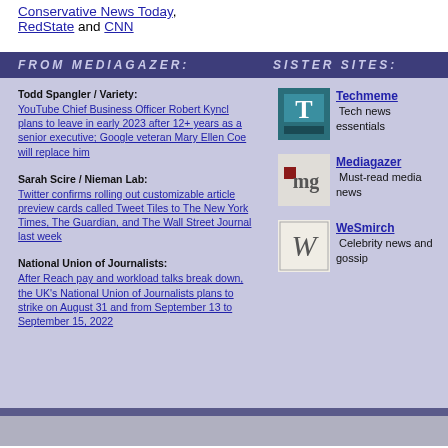Conservative News Today, RedState and CNN
FROM MEDIAGAZER:   SISTER SITES:
Todd Spangler / Variety: YouTube Chief Business Officer Robert Kyncl plans to leave in early 2023 after 12+ years as a senior executive; Google veteran Mary Ellen Coe will replace him
Sarah Scire / Nieman Lab: Twitter confirms rolling out customizable article preview cards called Tweet Tiles to The New York Times, The Guardian, and The Wall Street Journal last week
National Union of Journalists: After Reach pay and workload talks break down, the UK's National Union of Journalists plans to strike on August 31 and from September 13 to September 15, 2022
[Figure (logo): Techmeme logo - teal/dark square T icon]
Techmeme Tech news essentials
[Figure (logo): Mediagazer logo - mg letters with red square]
Mediagazer Must-read media news
[Figure (logo): WeSmirch logo - cursive W on cream background]
WeSmirch Celebrity news and gossip